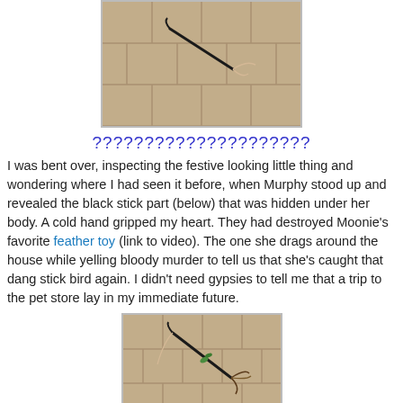[Figure (photo): Photo of a tiled floor with what appears to be a destroyed feather cat toy — black stick visible against beige/tan tiles]
?????????????????????
I was bent over, inspecting the festive looking little thing and wondering where I had seen it before, when Murphy stood up and revealed the black stick part (below) that was hidden under her body. A cold hand gripped my heart. They had destroyed Moonie's favorite feather toy (link to video). The one she drags around the house while yelling bloody murder to tell us that she's caught that dang stick bird again. I didn't need gypsies to tell me that a trip to the pet store lay in my immediate future.
[Figure (photo): Photo of a tiled floor showing a destroyed feather cat toy with black stick, green and brown feathers scattered on beige/tan tiles]